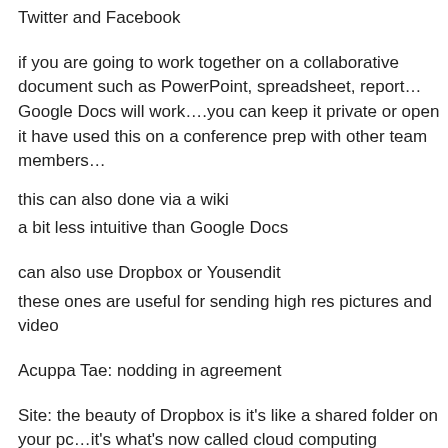Twitter and Facebook
if you are going to work together on a collaborative document such as PowerPoint, spreadsheet, report… Google Docs will work….you can keep it private or open it have used this on a conference prep with other team members…
this can also done via a wiki
a bit less intuitive than Google Docs
can also use Dropbox or Yousendit
these ones are useful for sending high res pictures and video
Acuppa Tae: nodding in agreement
Site: the beauty of Dropbox is it's like a shared folder on your pc…it's what's now called cloud computing